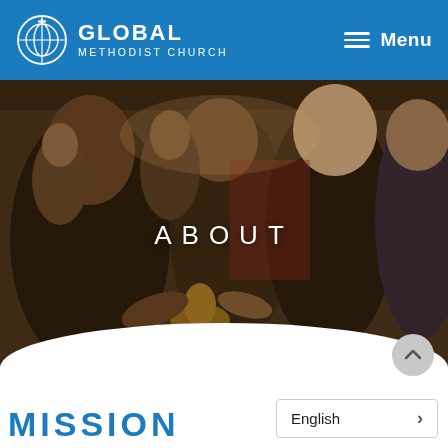GLOBAL METHODIST CHURCH | Menu
[Figure (photo): Group of people participating in a communion or religious ceremony, passing a communion cup, in a meeting hall setting]
ABOUT
MISSION
English >